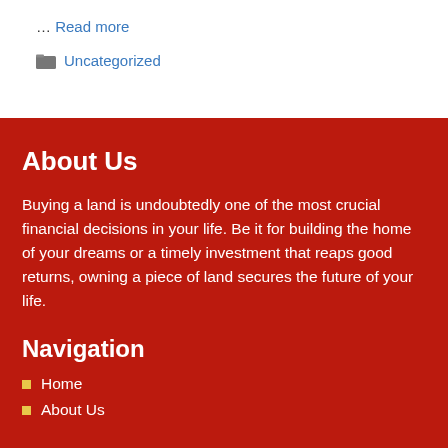… Read more
Uncategorized
About Us
Buying a land is undoubtedly one of the most crucial financial decisions in your life. Be it for building the home of your dreams or a timely investment that reaps good returns, owning a piece of land secures the future of your life.
Navigation
Home
About Us